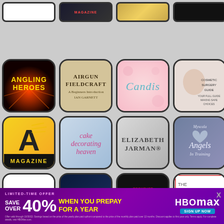[Figure (screenshot): App store grid of magazine/publication icons: Row 1 (partial): unknown white, magazine dark, gold bar, black. Row 2: Angling Heroes, Airgun Fieldcraft, Candis, Cosmetic Surgery Guide. Row 3: A Magazine, Cake Decorating Heaven, Elizabeth Jarman, Angels in Training. Row 4: Celiachia, Hifi Stars, BMM, The GI Friday. Row 5: D (yellow), CB (red), Globe network, Dorian. Row 6 (partial): four more icons partially visible. HBO Max advertisement banner overlay at bottom.]
[Figure (infographic): HBO Max limited time offer advertisement: SAVE OVER 40% WHEN YOU PREPAY FOR A YEAR with sign up button]